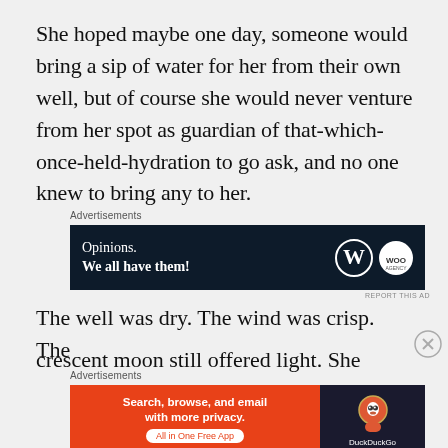She hoped maybe one day, someone would bring a sip of water for her from their own well, but of course she would never venture from her spot as guardian of that-which-once-held-hydration to go ask, and no one knew to bring any to her.
Advertisements
[Figure (infographic): Dark navy advertisement banner reading 'Opinions. We all have them!' with WordPress and WooCommerce logos on the right side.]
REPORT THIS AD
The well was dry. The wind was crisp. The
crescent moon still offered light. She stood
Advertisements
[Figure (infographic): Orange and dark advertisement banner for DuckDuckGo reading 'Search, browse, and email with more privacy. All in One Free App' with DuckDuckGo logo on the right.]
REPORT THIS AD